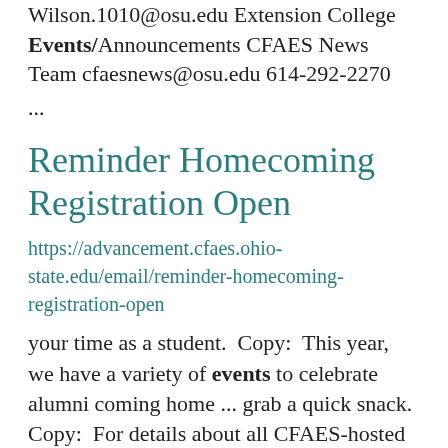Wilson.1010@osu.edu Extension College Events/Announcements CFAES News Team cfaesnews@osu.edu 614-292-2270
...
Reminder Homecoming Registration Open
https://advancement.cfaes.ohio-state.edu/email/reminder-homecoming-registration-open
your time as a student.  Copy:  This year, we have a variety of events to celebrate alumni coming home ... grab a quick snack. Copy:  For details about all CFAES-hosted events, visit the CFAES Alumni Homecoming ... center text, description...